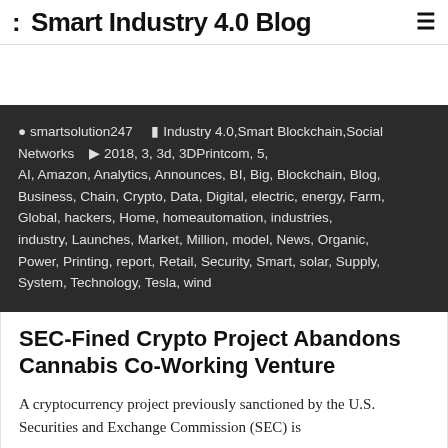: Smart Industry 4.0 Blog ≡
smartsolution247   Industry 4.0,Smart Blockchain,Social Networks   2018, 3, 3d, 3DPrintcom, 5, AI, Amazon, Analytics, Announces, BI, Big, Blockchain, Blog, Business, Chain, Crypto, Data, Digital, electric, energy, Farm, Global, hackers, Home, homeautomation, industries, industry, Launches, Market, Million, model, News, Organic, Power, Printing, report, Retail, Security, Smart, solar, Supply, System, Technology, Tesla, wind
SEC-Fined Crypto Project Abandons Cannabis Co-Working Venture
A cryptocurrency project previously sanctioned by the U.S. Securities and Exchange Commission (SEC) is